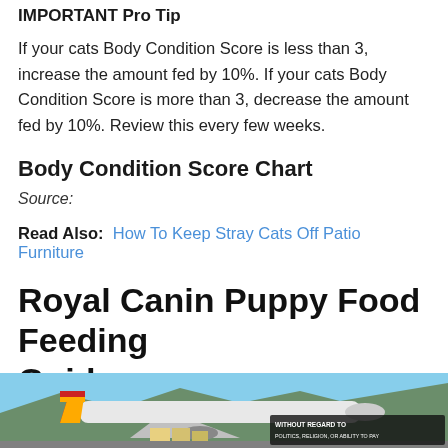IMPORTANT Pro Tip
If your cats Body Condition Score is less than 3, increase the amount fed by 10%. If your cats Body Condition Score is more than 3, decrease the amount fed by 10%. Review this every few weeks.
Body Condition Score Chart
Source:
Read Also: How To Keep Stray Cats Off Patio Furniture
Royal Canin Puppy Food Feeding Guide
[Figure (photo): Advertisement image showing an airplane on a tarmac with cargo being loaded, with overlay text 'WITHOUT REGARD TO POLITICS, RELIGION, OR ABILITY TO PAY']